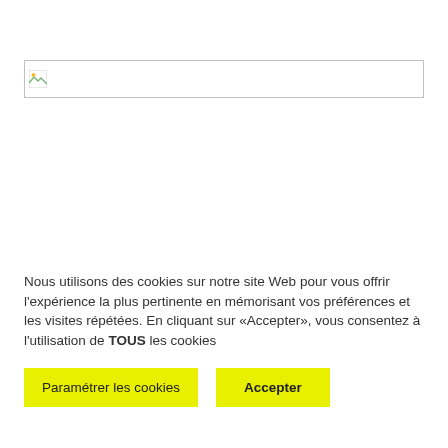[Figure (other): Broken/missing image placeholder with small broken image icon in top-left, bordered rectangle]
Nous utilisons des cookies sur notre site Web pour vous offrir l'expérience la plus pertinente en mémorisant vos préférences et les visites répétées. En cliquant sur «Accepter», vous consentez à l'utilisation de TOUS les cookies
Paramétrer les cookies
Accepter